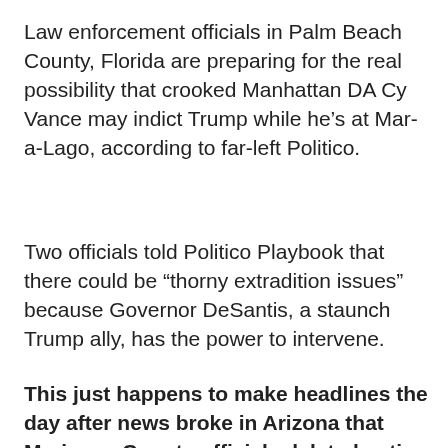Law enforcement officials in Palm Beach County, Florida are preparing for the real possibility that crooked Manhattan DA Cy Vance may indict Trump while he’s at Mar-a-Lago, according to far-left Politico.
Two officials told Politico Playbook that there could be “thorny extradition issues” because Governor DeSantis, a staunch Trump ally, has the power to intervene.
This just happens to make headlines the day after news broke in Arizona that Maricopa County officials deleted entire databases on